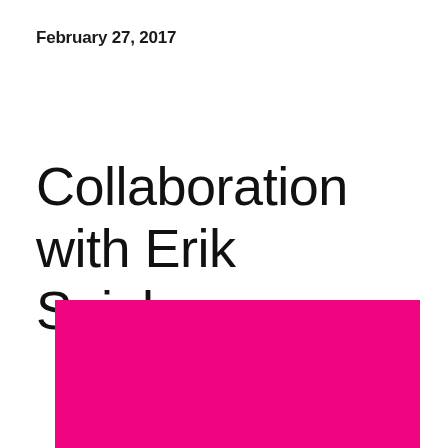February 27, 2017
Collaboration with Erik Spiekermann
[Figure (illustration): A solid magenta/hot-pink rectangular color block filling the bottom portion of the page]